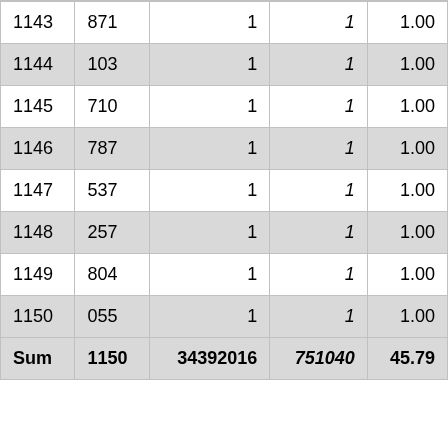| 1143 | 871 | 1 | 1 | 1.00 |
| 1144 | 103 | 1 | 1 | 1.00 |
| 1145 | 710 | 1 | 1 | 1.00 |
| 1146 | 787 | 1 | 1 | 1.00 |
| 1147 | 537 | 1 | 1 | 1.00 |
| 1148 | 257 | 1 | 1 | 1.00 |
| 1149 | 804 | 1 | 1 | 1.00 |
| 1150 | 055 | 1 | 1 | 1.00 |
| Sum | 1150 | 34392016 | 751040 | 45.79 |